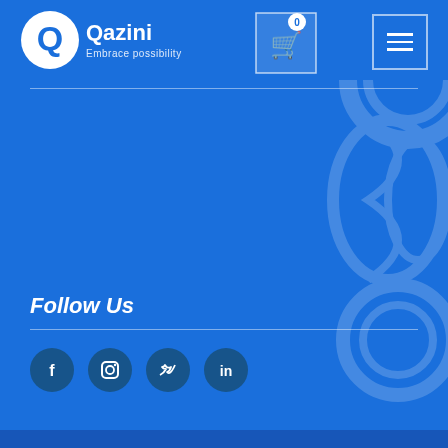[Figure (logo): Qazini logo with circular Q emblem and tagline 'Embrace possibility']
[Figure (other): Shopping cart icon with badge showing 0]
[Figure (other): Hamburger navigation menu button]
Follow Us
[Figure (other): Social media icons: Facebook, Instagram, Twitter, LinkedIn]